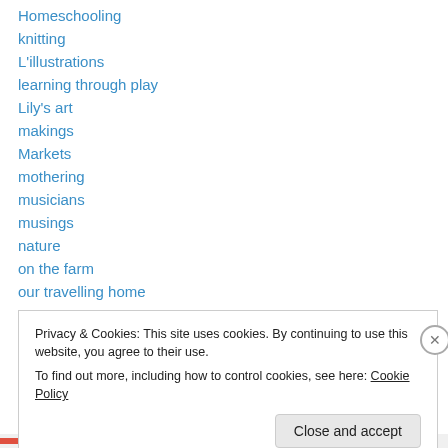Homeschooling
knitting
L'illustrations
learning through play
Lily's art
makings
Markets
mothering
musicians
musings
nature
on the farm
our travelling home
Privacy & Cookies: This site uses cookies. By continuing to use this website, you agree to their use.
To find out more, including how to control cookies, see here: Cookie Policy
Close and accept